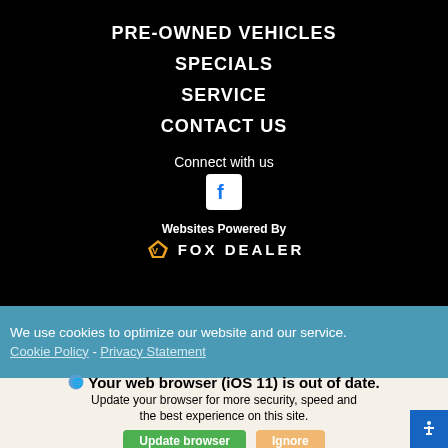PRE-OWNED VEHICLES
SPECIALS
SERVICE
CONTACT US
Connect with us
[Figure (logo): Facebook logo icon — white 'f' on white rounded square background]
Websites Powered By FOX DEALER
We use cookies to optimize our website and our service. Cookie Policy - Privacy Statement
Your web browser (iOS 11) is out of date. Update your browser for more security, speed and the best experience on this site.
Update browser   Ignore